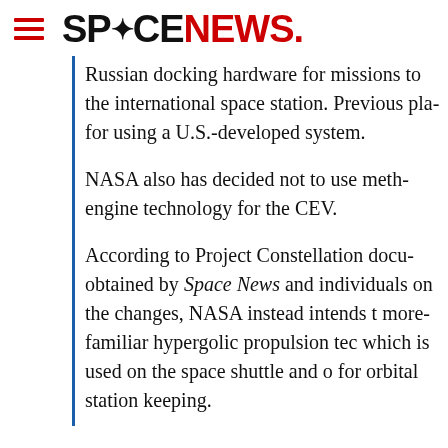SPACENEWS.
Russian docking hardware for missions to the international space station. Previous plans called for using a U.S.-developed system.
NASA also has decided not to use methane engine technology for the CEV.
According to Project Constellation documents obtained by Space News and individuals briefed on the changes, NASA instead intends to use more-familiar hypergolic propulsion technology, which is used on the space shuttle and other craft for orbital station keeping.
In announcing the Project Constellation architecture in September, NASA Admi...